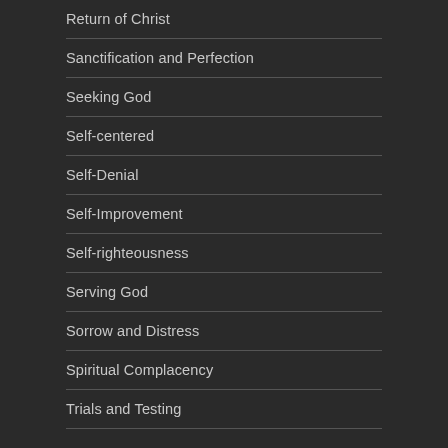Return of Christ
Sanctification and Perfection
Seeking God
Self-centered
Self-Denial
Self-Improvement
Self-righteousness
Serving God
Sorrow and Distress
Spiritual Complacency
Trials and Testing